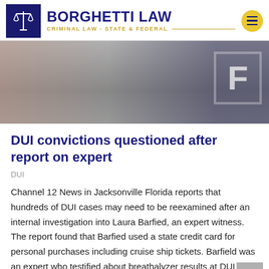[Figure (logo): Borghetti Law logo: dark blue box with scales of justice icon, bold navy text 'BORGHETTI LAW', gold tagline 'CRIMINAL LAW - STATE & FEDERAL', yellow hamburger menu button]
[Figure (photo): Blurred dark image with pink/red bokeh on left side and a blue shield with letter F on right side, suggesting a law enforcement or Florida related image]
DUI convictions questioned after report on expert
DUI
Channel 12 News in Jacksonville Florida reports that hundreds of DUI cases may need to be reexamined after an internal investigation into Laura Barfied, an expert witness. The report found that Barfied used a state credit card for personal purchases including cruise ship tickets. Barfield was an expert who testified about breathalyzer results at DUI trials.